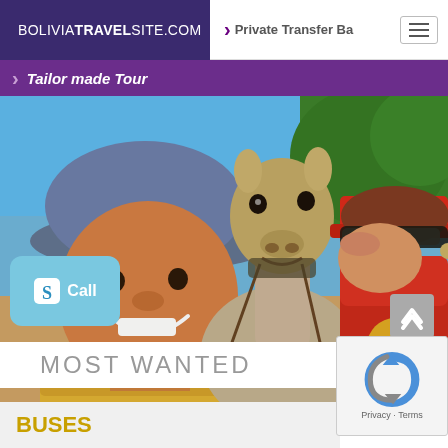BOLIVIATRAVELSITE.COM | Private Transfer B... ≡
Tailor made Tour
[Figure (photo): A smiling Bolivian child wearing a denim hat with a llama and a tourist in red clothing kissing the llama, outdoors with blue sky background.]
Call
MOST WANTED
BUSES